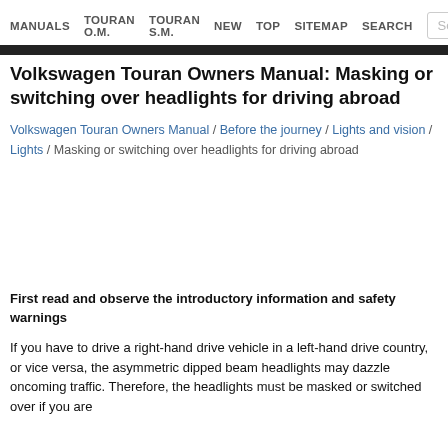MANUALS  TOURAN O.M.  TOURAN S.M.  NEW  TOP  SITEMAP  SEARCH
Volkswagen Touran Owners Manual: Masking or switching over headlights for driving abroad
Volkswagen Touran Owners Manual / Before the journey / Lights and vision / Lights / Masking or switching over headlights for driving abroad
First read and observe the introductory information and safety warnings
If you have to drive a right-hand drive vehicle in a left-hand drive country, or vice versa, the asymmetric dipped beam headlights may dazzle oncoming traffic. Therefore, the headlights must be masked or switched over if you are